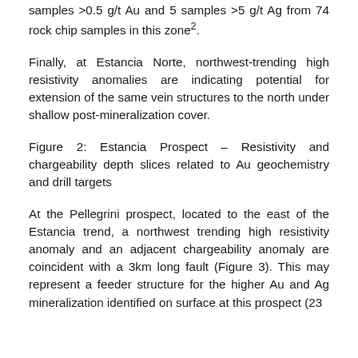samples >0.5 g/t Au and 5 samples >5 g/t Ag from 74 rock chip samples in this zone².
Finally, at Estancia Norte, northwest-trending high resistivity anomalies are indicating potential for extension of the same vein structures to the north under shallow post-mineralization cover.
Figure 2: Estancia Prospect – Resistivity and chargeability depth slices related to Au geochemistry and drill targets
At the Pellegrini prospect, located to the east of the Estancia trend, a northwest trending high resistivity anomaly and an adjacent chargeability anomaly are coincident with a 3km long fault (Figure 3). This may represent a feeder structure for the higher Au and Ag mineralization identified on surface at this prospect (23